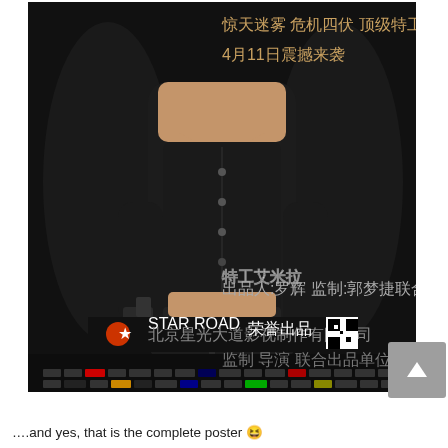[Figure (photo): Movie poster for a Chinese action film featuring women in black leather outfits holding guns. Text in Chinese characters reads '4月11日震撼来袭' (Coming to shake you on April 11) and '特工艾米拉' (Agent Emilia / Special Agent Emelia). Production company Star Road logo and QR code visible at bottom.]
….and yes, that is the complete poster 😆